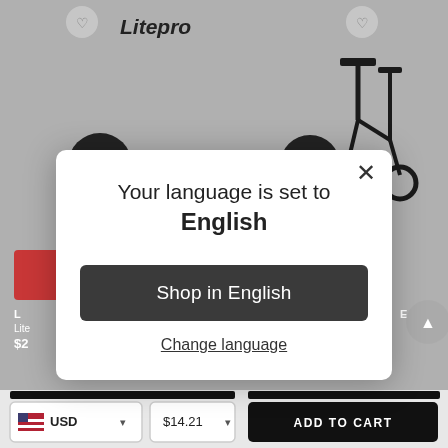[Figure (screenshot): E-commerce product listing page background showing Litepro branded bicycle accessories (handlebar extension, folding bike) on gray background]
Litepro
L
Lite
$2
E
ing
Your language is set to English
Shop in English
Change language
USD
$14.21
ADD TO CART